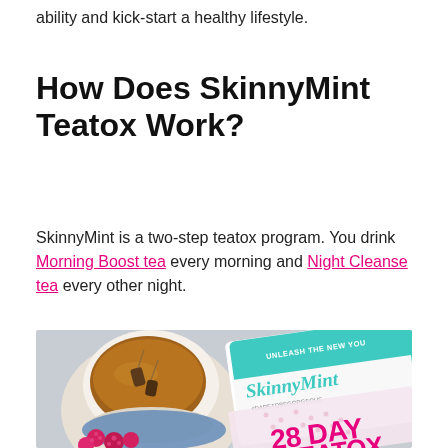ability and kick-start a healthy lifestyle.
How Does SkinnyMint Teatox Work?
SkinnyMint is a two-step teatox program. You drink Morning Boost tea every morning and Night Cleanse tea every other night.
[Figure (photo): A cup of brewed tea with tea bags, next to a SkinnyMint 28 Day Teatox product package with text 'Unleash The New You', 'SkinnyMint', '#DareToBeGorgeous', and '28 DAY TEATOX', with raspberries in foreground.]